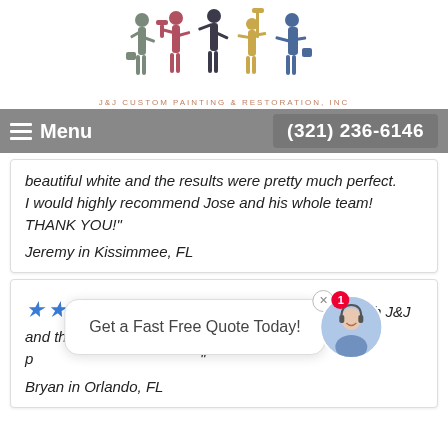[Figure (logo): J&J Custom Painting & Restoration, Inc logo with five silhouette figures of painters in gray, red, dark, gold, and blue colors, and company name text below]
Menu  (321) 236-6146
beautiful white and the results were pretty much perfect.
I would highly recommend Jose and his whole team! THANK YOU!"
Jeremy in Kissimmee, FL
★★★★★ - "Restored my kitchen cabinets with J&J and they [text obscured] prof and the p[text obscured]"
Bryan in Orlando, FL
Get a Fast Free Quote Today!